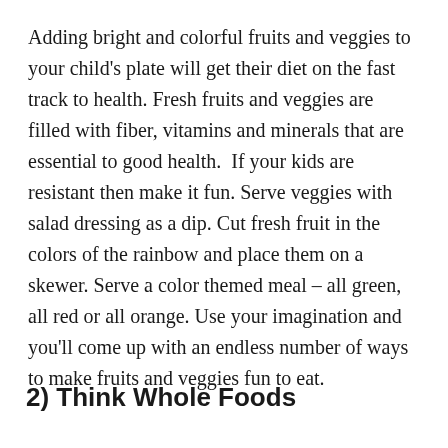Adding bright and colorful fruits and veggies to your child's plate will get their diet on the fast track to health. Fresh fruits and veggies are filled with fiber, vitamins and minerals that are essential to good health.  If your kids are resistant then make it fun. Serve veggies with salad dressing as a dip. Cut fresh fruit in the colors of the rainbow and place them on a skewer. Serve a color themed meal – all green, all red or all orange. Use your imagination and you'll come up with an endless number of ways to make fruits and veggies fun to eat.
2) Think Whole Foods